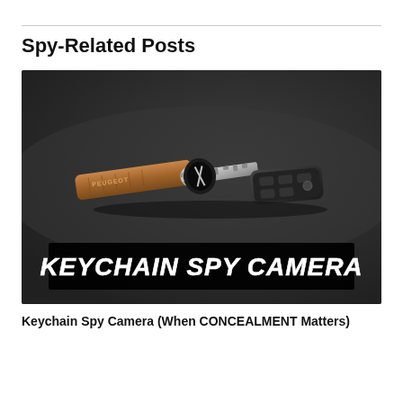Spy-Related Posts
[Figure (photo): A car key with a brown leather Peugeot fob and a black remote key fob lying on a dark surface, with text overlay reading KEYCHAIN SPY CAMERA in bold white italic letters on a black banner at the bottom of the image.]
Keychain Spy Camera (When CONCEALMENT Matters)